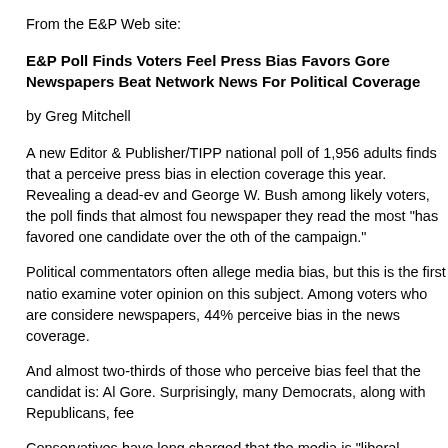From the E&P Web site:
E&P Poll Finds Voters Feel Press Bias Favors Gore
Newspapers Beat Network News For Political Coverage
by Greg Mitchell
A new Editor & Publisher/TIPP national poll of 1,956 adults finds that a perceive press bias in election coverage this year. Revealing a dead-ev and George W. Bush among likely voters, the poll finds that almost fou newspaper they read the most "has favored one candidate over the oth of the campaign."
Political commentators often allege media bias, but this is the first natio examine voter opinion on this subject. Among voters who are considere newspapers, 44% perceive bias in the news coverage.
And almost two-thirds of those who perceive bias feel that the candidat is: Al Gore. Surprisingly, many Democrats, along with Republicans, fee
Conservatives have long charged that the media is "liberal-oriented," a reflected in the new poll in the finding that fully half (53%) of all Bush su among Republicans who perceive bias, four out of five feel the press fa